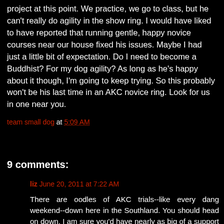project at this point. We practice, we go to class, but he can't really do agility in the show ring. I would have liked to have reported that running gentle, happy novice courses near our house fixed his issues. Maybe I had just a little bit of expectation. Do I need to become a Buddhist? For my dog agility? As long as he's happy about it though, I'm going to keep trying. So this probably won't be his last time in an AKC novice ring. Look for us in one near you.
team small dog at 5:09 AM
Share
9 comments:
liz June 20, 2011 at 7:22 AM
There are oodles of AKC trials--like every dang weekend--down here in the Southland. You should head on down, I am sure you'd have nearly as big of a support system as up there.